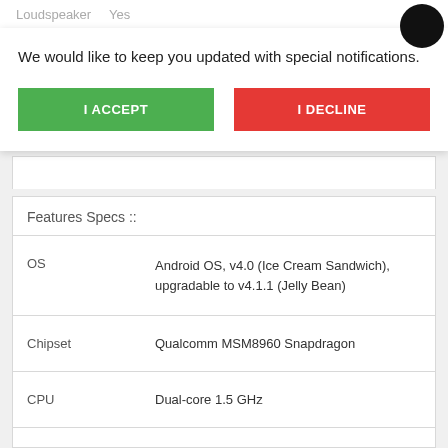Loudspeaker    Yes
We would like to keep you updated with special notifications.
I ACCEPT
I DECLINE
| Feature | Spec |
| --- | --- |
| OS | Android OS, v4.0 (Ice Cream Sandwich), upgradable to v4.1.1 (Jelly Bean) |
| Chipset | Qualcomm MSM8960 Snapdragon |
| CPU | Dual-core 1.5 GHz |
| GPU | Adreno 225 |